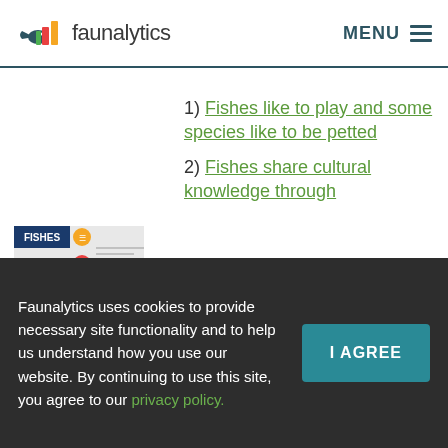faunalytics   MENU
1) Fishes like to play and some species like to be petted
2) Fishes share cultural knowledge through
[Figure (logo): FISHES publication thumbnail with fish icon and logos]
Faunalytics uses cookies to provide necessary site functionality and to help us understand how you use our website. By continuing to use this site, you agree to our privacy policy.